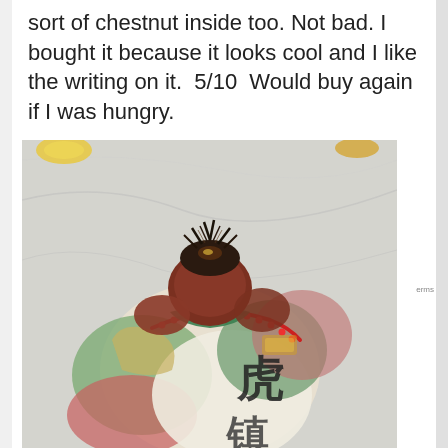sort of chestnut inside too. Not bad. I bought it because it looks cool and I like the writing on it.  5/10  Would buy again if I was hungry.
[Figure (photo): A decorative chestnut or food item wrapped in colorful paper with Chinese characters, resembling a small figurine or bunny shape with dark bristly top, red and green decorated wrapping with red beaded cord, sitting on a white cloth background.]